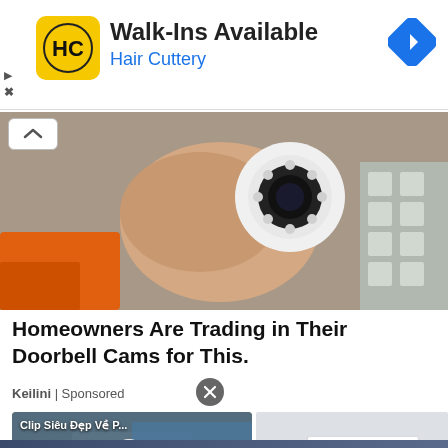[Figure (screenshot): Hair Cuttery advertisement banner with yellow logo showing HC initials, Walk-Ins Available text, blue navigation arrow icon top right, and small play/close icons bottom left]
[Figure (photo): Hand holding a white round security camera with LED lights, orange drill visible at bottom left, grey foam packaging in background. Collapse/chevron button overlay top left.]
Homeowners Are Trading in Their Doorbell Cams for This.
Keilini | Sponsored
[Figure (screenshot): Video thumbnail showing aerial road/bridge scene with 'Clip Siêu Đẹp Về P...' label and white play button circle in center. Right side shows light grey panel with white inner box.]
[Figure (photo): Bottom strip showing partial image with dark blue tones, partially cut off at page bottom.]